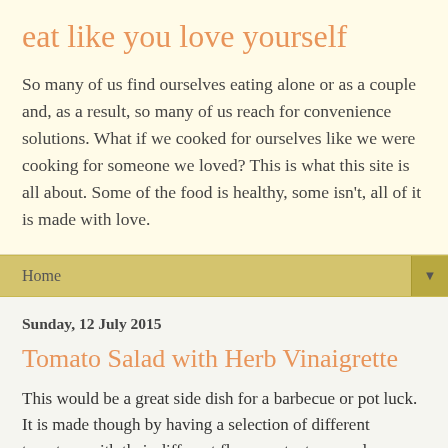eat like you love yourself
So many of us find ourselves eating alone or as a couple and, as a result, so many of us reach for convenience solutions. What if we cooked for ourselves like we were cooking for someone we loved? This is what this site is all about. Some of the food is healthy, some isn't, all of it is made with love.
Home
Sunday, 12 July 2015
Tomato Salad with Herb Vinaigrette
This would be a great side dish for a barbecue or pot luck.  It is made though by having a selection of different tomatoes with their different flavours, textures and colours.  You could